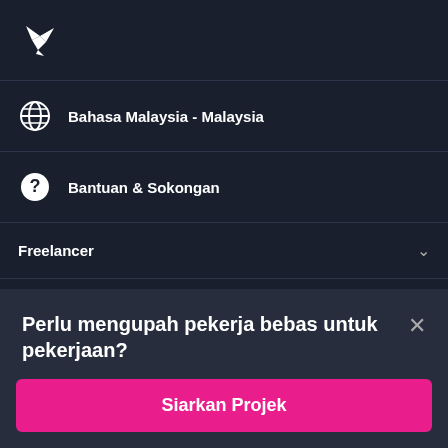[Figure (logo): White bird logo (Freelancer.com hummingbird icon) on dark navy background]
Bahasa Malaysia - Malaysia
Bantuan & Sokongan
Freelancer
Tentang
Perlu mengupah pekerja bebas untuk pekerjaan?
Siarkan Projek